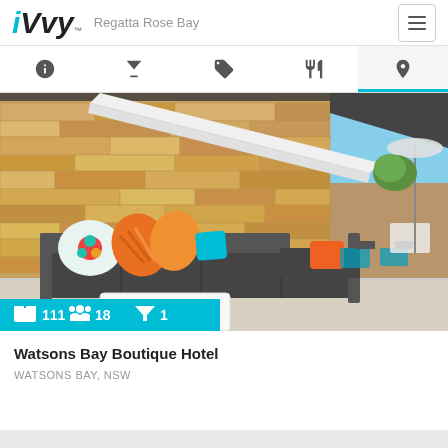iVvy™ — Regatta Rose Bay
[Figure (screenshot): Navigation tab bar with icons: info (i), cocktail glass, tag, fork/knife, location pin. Location pin tab is active with cyan underline.]
[Figure (photo): Rooftop terrace of Watsons Bay Boutique Hotel showing an outdoor lounge area with a dark L-shaped sofa adorned with colorful pillows (teal, orange, multicolor floral), a white coffee table, sandstone wall, white architectural canopy, and outdoor seating/bar area in the background. Blue sky visible. Cyan info bar at bottom shows: bed icon 111, people icon 18, cocktail icon 1.]
Watsons Bay Boutique Hotel
WATSONS BAY, NSW